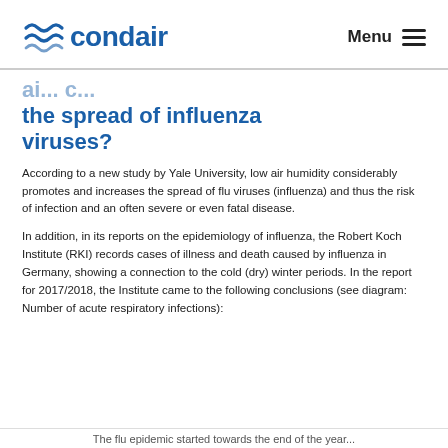condair | Menu
the spread of influenza viruses?
According to a new study by Yale University, low air humidity considerably promotes and increases the spread of flu viruses (influenza) and thus the risk of infection and an often severe or even fatal disease.
In addition, in its reports on the epidemiology of influenza, the Robert Koch Institute (RKI) records cases of illness and death caused by influenza in Germany, showing a connection to the cold (dry) winter periods. In the report for 2017/2018, the Institute came to the following conclusions (see diagram: Number of acute respiratory infections):
The flu epidemic started towards the end of the year...